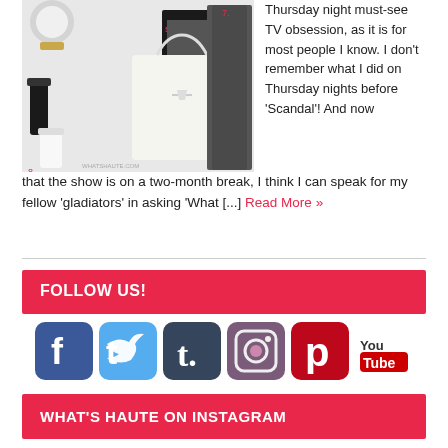[Figure (photo): Fashion collage with accessories including a watch, nail polish, handbag, and clothing items with numbered labels]
Thursday night must-see TV obsession, as it is for most people I know. I don't remember what I did on Thursday nights before 'Scandal'! And now that the show is on a two-month break, I think I can speak for my fellow 'gladiators' in asking 'What [...] Read More »
FOLLOW US!
[Figure (infographic): Social media icons: Facebook, Twitter, Tumblr, Instagram, Pinterest, YouTube]
WHAT'S HAUTE ON INSTAGRAM